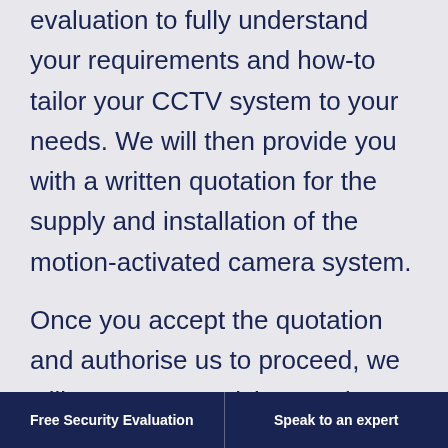evaluation to fully understand your requirements and how-to tailor your CCTV system to your needs. We will then provide you with a written quotation for the supply and installation of the motion-activated camera system.
Once you accept the quotation and authorise us to proceed, we will arrange to revisit your site to begin the installation. Once we have fully installed the CCTV
Free Security Evaluation    Speak to an expert